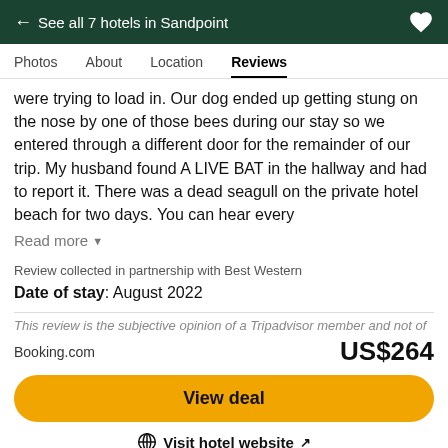← See all 7 hotels in Sandpoint
Photos   About   Location   Reviews
were trying to load in. Our dog ended up getting stung on the nose by one of those bees during our stay so we entered through a different door for the remainder of our trip. My husband found A LIVE BAT in the hallway and had to report it. There was a dead seagull on the private hotel beach for two days. You can hear every
Read more
Review collected in partnership with Best Western
Date of stay: August 2022
This review is the subjective opinion of a Tripadvisor member and not of
Booking.com
US$264
View deal
Visit hotel website ↗